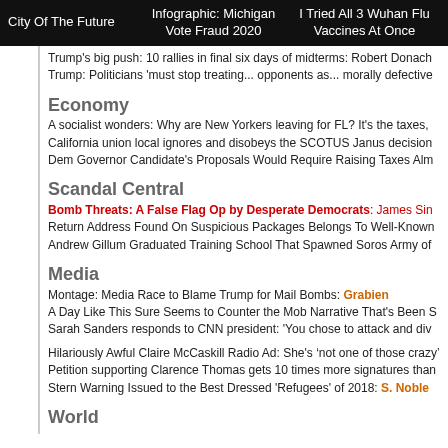City Of The Future | Infographic: Michigan Vote Fraud 2020 | I Tried All 3 Wuhan Flu Vaccines At Once
Trump's big push: 10 rallies in final six days of midterms: Robert Donach
Trump: Politicians 'must stop treating... opponents as... morally defective
Economy
A socialist wonders: Why are New Yorkers leaving for FL? It's the taxes,
California union local ignores and disobeys the SCOTUS Janus decision
Dem Governor Candidate's Proposals Would Require Raising Taxes Alm
Scandal Central
Bomb Threats: A False Flag Op by Desperate Democrats: James Sin
Return Address Found On Suspicious Packages Belongs To Well-Known
Andrew Gillum Graduated Training School That Spawned Soros Army of
Media
Montage: Media Race to Blame Trump for Mail Bombs: Grabien
A Day Like This Sure Seems to Counter the Mob Narrative That's Been S
Sarah Sanders responds to CNN president: 'You chose to attack and div
Hilariously Awful Claire McCaskill Radio Ad: She's ‘not one of those crazy’
Petition supporting Clarence Thomas gets 10 times more signatures than
Stern Warning Issued to the Best Dressed 'Refugees' of 2018: S. Noble
World